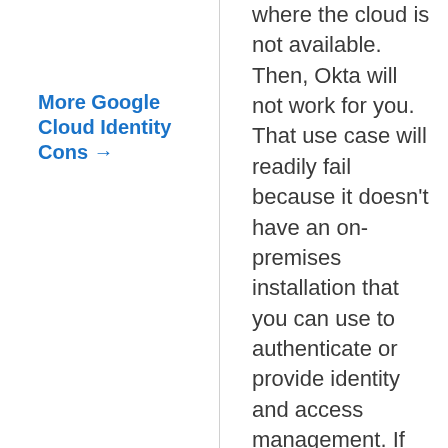More Google Cloud Identity Cons →
where the cloud is not available. Then, Okta will not work for you. That use case will readily fail because it doesn't have an on-premises installation that you can use to authenticate or provide identity and access management. If you have a purely on-premises solution that is not connected to the internet, then